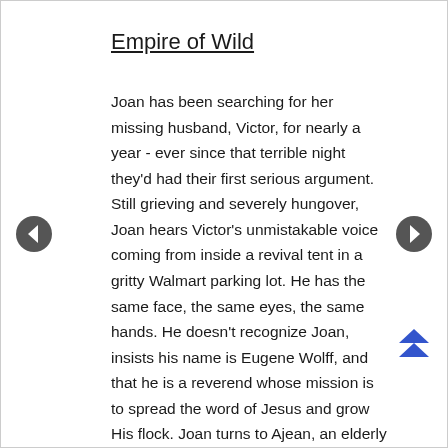Empire of Wild
Joan has been searching for her missing husband, Victor, for nearly a year - ever since that terrible night they'd had their first serious argument. Still grieving and severely hungover, Joan hears Victor's unmistakable voice coming from inside a revival tent in a gritty Walmart parking lot. He has the same face, the same eyes, the same hands. He doesn't recognize Joan, insists his name is Eugene Wolff, and that he is a reverend whose mission is to spread the word of Jesus and grow His flock. Joan turns to Ajean, an elderly foul-mouthed card shark who is one of the few among Métis community steeped in the traditions of the